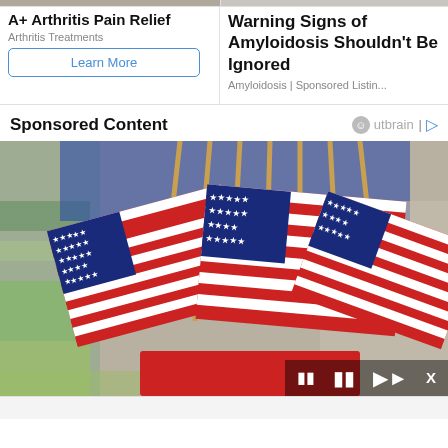[Figure (other): Left ad image strip (partially visible photo)]
A+ Arthritis Pain Relief
Arthritis Treatments
Learn More
[Figure (other): Right ad image strip (partially visible photo)]
Warning Signs of Amyloidosis Shouldn't Be Ignored
Amyloidosis | Sponsored Listin...
Sponsored Content
Outbrain
[Figure (photo): Photo of multiple small American flags displayed in a store, with red and white stripes and blue canton with stars, wooden handles visible at top. Blurred store shelves visible in background.]